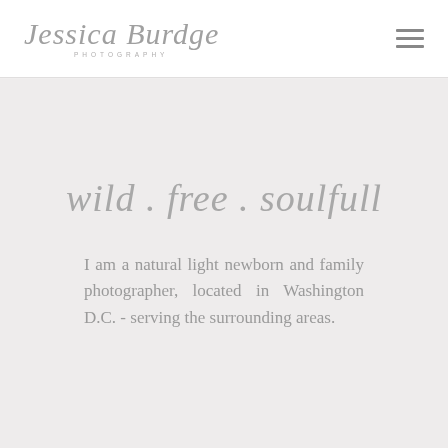[Figure (logo): Jessica Burdge Photography logo — cursive script text with 'PHOTOGRAPHY' in small spaced capitals below]
wild . free . soulfull
I am a natural light newborn and family photographer, located in Washington D.C. - serving the surrounding areas.